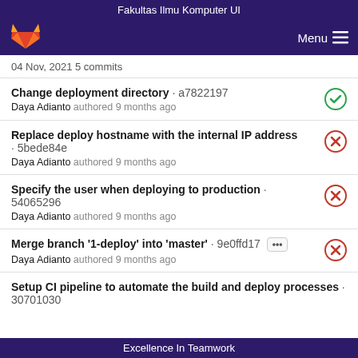Fakultas Ilmu Komputer UI
04 Nov, 2021 5 commits
Change deployment directory · a7822197
Daya Adianto authored 9 months ago
Replace deploy hostname with the internal IP address · 5bede84e
Daya Adianto authored 9 months ago
Specify the user when deploying to production · 54065296
Daya Adianto authored 9 months ago
Merge branch '1-deploy' into 'master' · 9e0ffd17
Daya Adianto authored 9 months ago
Setup CI pipeline to automate the build and deploy processes · 30701030
Excellence In Teamwork